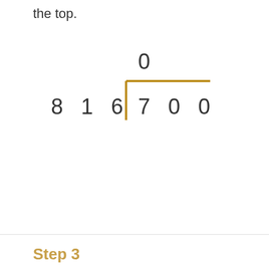the top.
[Figure (math-figure): Long division setup showing 816 dividing into 700, with a quotient digit 0 above the dividend area. The division bracket is drawn in golden/brown color. Digits: 8 1 6 ) 7 0 0 with 0 above the 7.]
Step 3